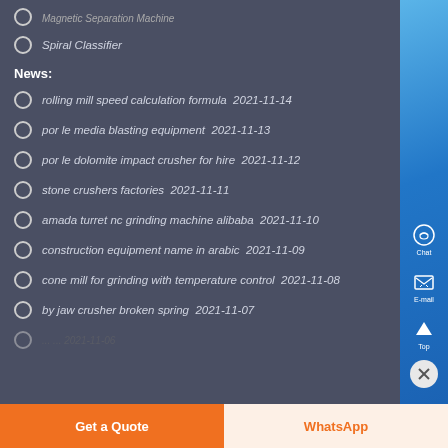Magnetic Separation Machine
Spiral Classifier
News:
rolling mill speed calculation formula  2021-11-14
por le media blasting equipment  2021-11-13
por le dolomite impact crusher for hire  2021-11-12
stone crushers factories  2021-11-11
amada turret nc grinding machine alibaba  2021-11-10
construction equipment name in arabic  2021-11-09
cone mill for grinding with temperature control  2021-11-08
by jaw crusher broken spring  2021-11-07
... 2021-11-06